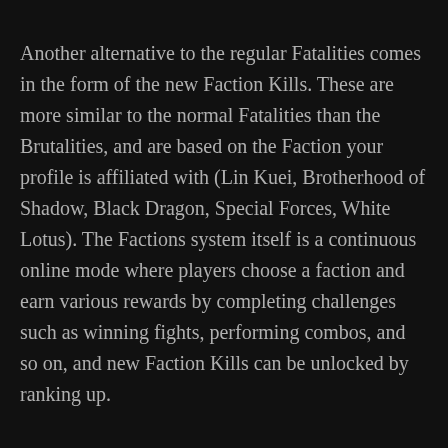Another alternative to the regular Fatalities comes in the form of the new Faction Kills. These are more similar to the normal Fatalities than the Brutalities, and are based on the Faction your profile is affiliated with (Lin Kuei, Brotherhood of Shadow, Black Dragon, Special Forces, White Lotus). The Factions system itself is a continuous online mode where players choose a faction and earn various rewards by completing challenges such as winning fights, performing combos, and so on, and new Faction Kills can be unlocked by ranking up.